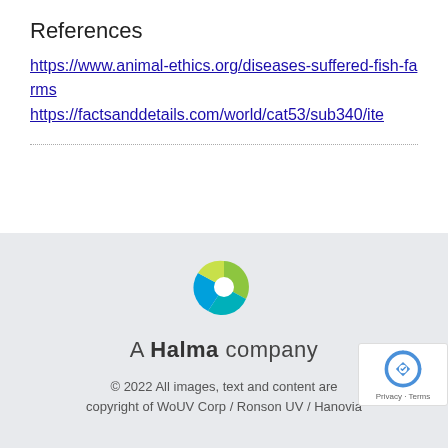References
https://www.animal-ethics.org/diseases-suffered-fish-farms
https://factsanddetails.com/world/cat53/sub340/ite
[Figure (logo): Halma company logo with circular icon in green, teal, and blue colors, with text 'A Halma company' below]
© 2022 All images, text and content are copyright of WoUV Corp / Ronson UV / Hanovia